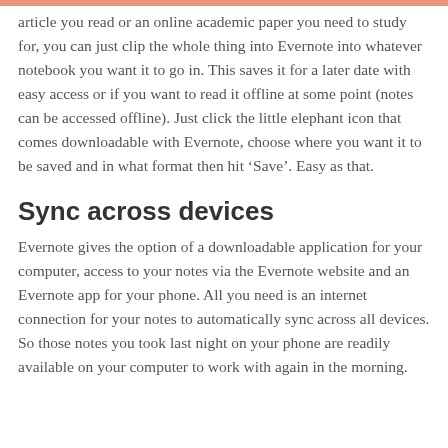article you read or an online academic paper you need to study for, you can just clip the whole thing into Evernote into whatever notebook you want it to go in. This saves it for a later date with easy access or if you want to read it offline at some point (notes can be accessed offline). Just click the little elephant icon that comes downloadable with Evernote, choose where you want it to be saved and in what format then hit ‘Save’. Easy as that.
Sync across devices
Evernote gives the option of a downloadable application for your computer, access to your notes via the Evernote website and an Evernote app for your phone. All you need is an internet connection for your notes to automatically sync across all devices. So those notes you took last night on your phone are readily available on your computer to work with again in the morning.